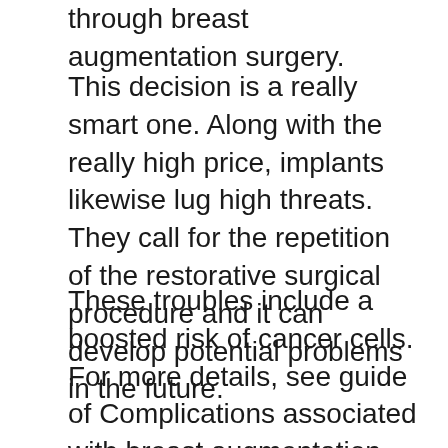through breast augmentation surgery.
This decision is a really smart one. Along with the really high price, implants likewise lug high threats. They call for the repetition of the restorative surgical procedure and it can develop potential problems in the future.
These troubles include a boosted risk of cancer cells. For more details, see guide of Complications associated with breast augmentation published by the FDA.
Today, there are lots of products that declare to offer reliable all-natural breast enhancement. Nonetheless, one of the most successful as well as preferred of these products is Breast Actives. It is the No. 1